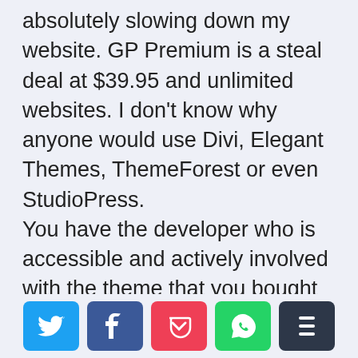absolutely slowing down my website. GP Premium is a steal deal at $39.95 and unlimited websites. I don't know why anyone would use Divi, Elegant Themes, ThemeForest or even StudioPress.
You have the developer who is accessible and actively involved with the theme that you bought at the personal level. No middleman or customer service issues, etc.
Very happy with my purchase!
[Figure (infographic): Social sharing buttons: Twitter (blue), Facebook (dark blue), Pocket (red/pink), WhatsApp (green), Buffer (dark gray)]